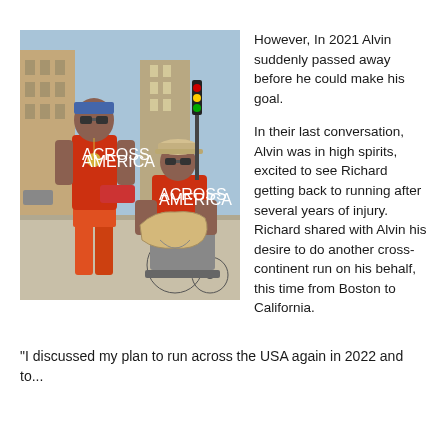[Figure (photo): Two men in red athletic shirts posing outdoors on a city street. The man on the left is standing, wearing a blue bandana and a medal around his neck. The man on the right is seated in a wheelchair wearing a beige cap and sunglasses. Both are holding a map-shaped artwork of the United States. Buildings and a traffic light are visible in the background.]
However, In 2021 Alvin suddenly passed away before he could make his goal.

In their last conversation, Alvin was in high spirits, excited to see Richard getting back to running after several years of injury. Richard shared with Alvin his desire to do another cross-continent run on his behalf, this time from Boston to California.
"I discussed my plan to run across the USA again in 2022 and to..."